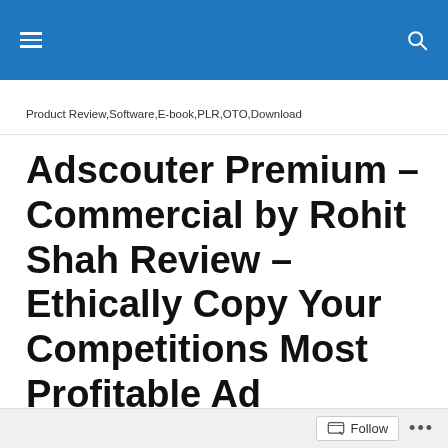≡  [search icon]
Product Review,Software,E-book,PLR,OTO,Download
Adscouter Premium – Commercial by Rohit Shah Review – Ethically Copy Your Competitions Most Profitable Ad Campaigns They Desperately Wanted To Hide From You So You Can...
Follow ...